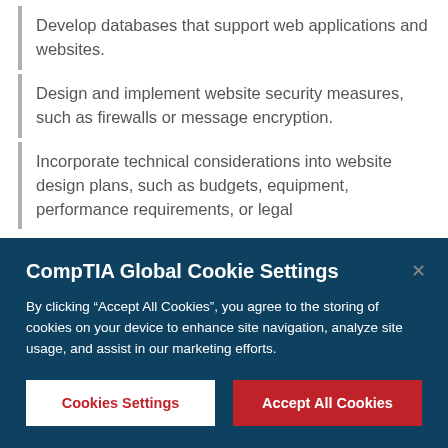Develop databases that support web applications and websites.
Design and implement website security measures, such as firewalls or message encryption.
Incorporate technical considerations into website design plans, such as budgets, equipment, performance requirements, or legal
CompTIA Global Cookie Settings
By clicking “Accept All Cookies”, you agree to the storing of cookies on your device to enhance site navigation, analyze site usage, and assist in our marketing efforts.
Cookies Settings
Accept All Cookies